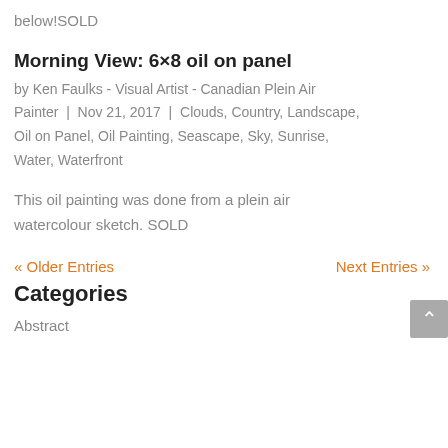below!SOLD
Morning View: 6×8 oil on panel
by Ken Faulks - Visual Artist - Canadian Plein Air Painter  |  Nov 21, 2017  |  Clouds, Country, Landscape, Oil on Panel, Oil Painting, Seascape, Sky, Sunrise, Water, Waterfront
This oil painting was done from a plein air watercolour sketch. SOLD
« Older Entries    Next Entries »
Categories
Abstract